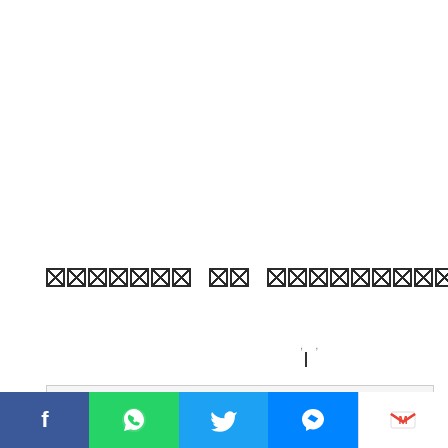[Figure (other): Redacted/placeholder heading with crossed boxes representing censored text - a row of box placeholders arranged in word groups]
If knowing about the dangers of smoking were enough, almost
[Figure (other): Social media sharing bar with Facebook, WhatsApp, Twitter, Messenger, and Gmail icons]